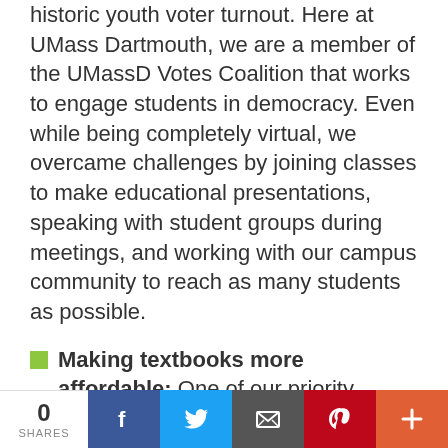historic youth voter turnout. Here at UMass Dartmouth, we are a member of the UMassD Votes Coalition that works to engage students in democracy. Even while being completely virtual, we overcame challenges by joining classes to make educational presentations, speaking with student groups during meetings, and working with our campus community to reach as many students as possible.
Making textbooks more affordable: One of our priority campaigns right now is working to make textbooks more affordable. We've been working locally, statewide, and at the national level to reduce textbook costs for decades –
0 SHARES | Facebook | Twitter | Email | Pinterest | +